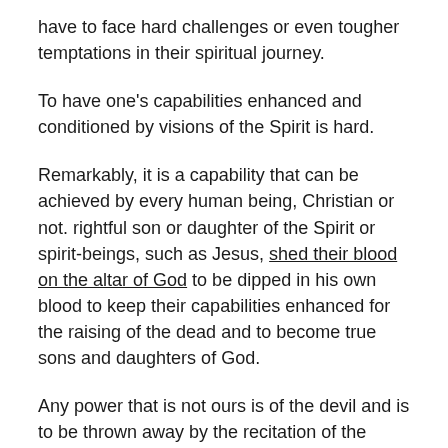have to face hard challenges or even tougher temptations in their spiritual journey.
To have one's capabilities enhanced and conditioned by visions of the Spirit is hard.
Remarkably, it is a capability that can be achieved by every human being, Christian or not. rightful son or daughter of the Spirit or spirit-beings, such as Jesus, shed their blood on the altar of God to be dipped in his own blood to keep their capabilities enhanced for the raising of the dead and to become true sons and daughters of God.
Any power that is not ours is of the devil and is to be thrown away by the recitation of the almighty “Thou Shalt NotISH” command in the name of Jesus.
JV Whenever you are in doubt, meditate on this verse and